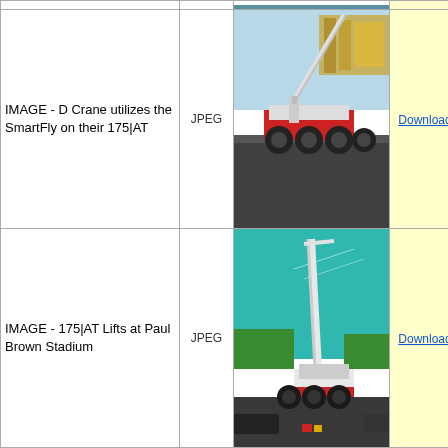| Description | Type | Image | Download | Size |  |
| --- | --- | --- | --- | --- | --- |
| IMAGE - D Crane utilizes the SmartFly on their 175|AT | JPEG | [crane image] | Download | 12.4 mb | 01A |
| IMAGE - 175|AT Lifts at Paul Brown Stadium | JPEG | [crane image] | Download | 12.63 mb | 01A |
| NR22-01 - Shultz Named | Word |  |  |  |  |